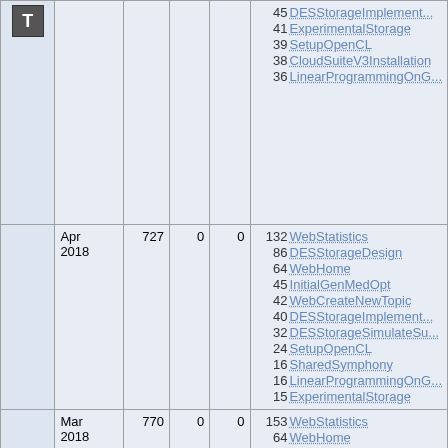|  | Date | Views | Saves | Attachments | Top pages |
| --- | --- | --- | --- | --- | --- |
| T-icon |  |  |  |  | 45 DESStorageImplement...
41 ExperimentalStorage
39 SetupOpenCL
38 CloudSuiteV3Installation
36 LinearProgrammingOnG... |
|  | Apr 2018 | 727 | 0 | 0 | 132 WebStatistics
86 DESStorageDesign
64 WebHome
45 InitialGenMedOpt
42 WebCreateNewTopic
40 DESStorageImplement...
32 DESStorageSimulateSu...
24 SetupOpenCL
16 SharedSymphony
16 LinearProgrammingOnG...
15 ExperimentalStorage |
|  | Mar 2018 | 770 | 0 | 0 | 153 WebStatistics
64 WebHome
56 DESStorageDesign
51 WebCreateNewTopic
45 InitialGenMedOpt
34 DESStorageSimulateSu... |